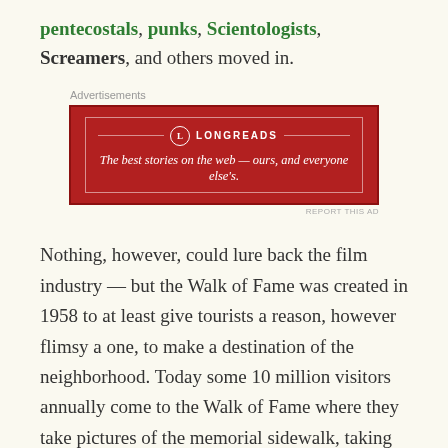pentecostals, punks, Scientologists, Screamers, and others moved in.
[Figure (other): Longreads advertisement banner: red background with white border, Longreads logo and tagline 'The best stories on the web — ours, and everyone else's.']
Nothing, however, could lure back the film industry — but the Walk of Fame was created in 1958 to at least give tourists a reason, however flimsy a one, to make a destination of the neighborhood. Today some 10 million visitors annually come to the Walk of Fame where they take pictures of the memorial sidewalk, taking selfies and having their picture taken with shakedown artists unconvincingly dressed as comic book superheroes. Along the way, they're accosted by aggressive, self-medicated panhandlers — including the homeless, millenarians, and